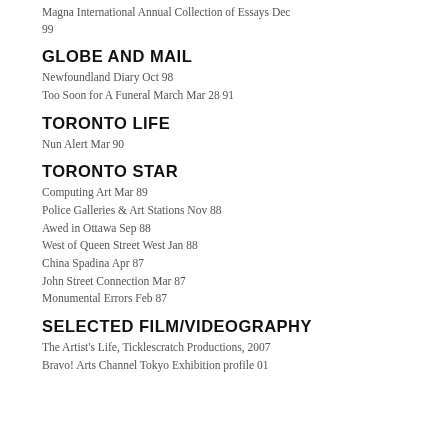Magna International Annual Collection of Essays Dec 99
GLOBE AND MAIL
Newfoundland Diary Oct 98
Too Soon for A Funeral March Mar 28 91
TORONTO LIFE
Nun Alert Mar 90
TORONTO STAR
Computing Art Mar 89
Police Galleries & Art Stations Nov 88
Awed in Ottawa Sep 88
West of Queen Street West Jan 88
China Spadina Apr 87
John Street Connection Mar 87
Monumental Errors Feb 87
SELECTED FILM/VIDEOGRAPHY
The Artist's Life, Ticklescratch Productions, 2007
Bravo! Arts Channel Tokyo Exhibition profile 01